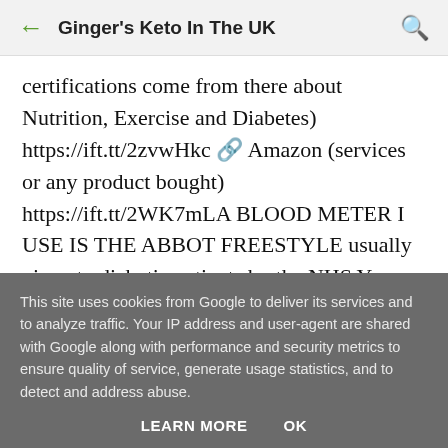← Ginger's Keto In The UK 🔍
certifications come from there about Nutrition, Exercise and Diabetes) https://ift.tt/2zvwHkc 🔗 Amazon (services or any product bought) https://ift.tt/2WK7mLA BLOOD METER I USE IS THE ABBOT FREESTYLE usually given to diabetic patients by the NHS You find it here https://ift.tt/2wWFYkG And ketone strips usually
This site uses cookies from Google to deliver its services and to analyze traffic. Your IP address and user-agent are shared with Google along with performance and security metrics to ensure quality of service, generate usage statistics, and to detect and address abuse.
LEARN MORE   OK